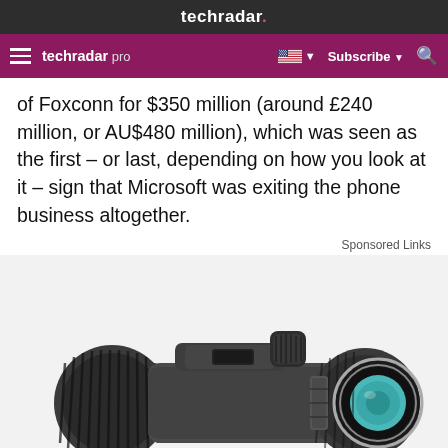techradar.
techradar pro  Subscribe
of Foxconn for $350 million (around £240 million, or AU$480 million), which was seen as the first – or last, depending on how you look at it – sign that Microsoft was exiting the phone business altogether.
Sponsored Links
[Figure (photo): A monocular (single-tube telescope/spotting scope) device in dark gray/black color with textured grip, focus knob on top, and teal-green lens element visible on the right, photographed on a white background.]